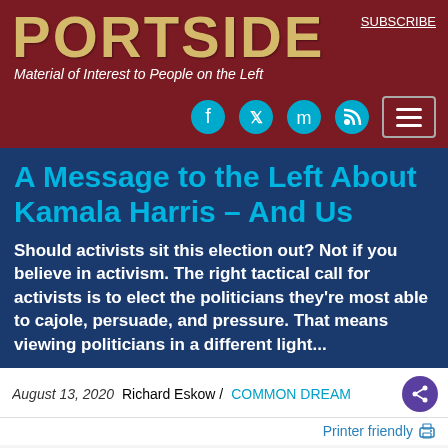PORTSIDE
Material of Interest to People on the Left
A Message to the Left About Kamala Harris – And Us
Should activists sit this election out? Not if you believe in activism. The right tactical call for activists is to elect the politicians they're most able to cajole, persuade, and pressure. That means viewing politicians in a different light...
August 13, 2020   Richard Eskow / COMMON DREAMS
Printer friendly